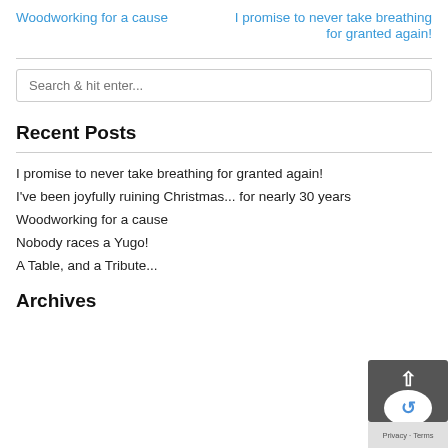Woodworking for a cause
I promise to never take breathing for granted again!
Search & hit enter...
Recent Posts
I promise to never take breathing for granted again!
I've been joyfully ruining Christmas... for nearly 30 years
Woodworking for a cause
Nobody races a Yugo!
A Table, and a Tribute...
Archives